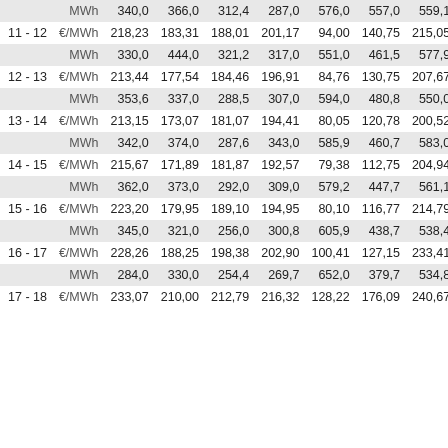| Hour | Unit | Col1 | Col2 | Col3 | Col4 | Col5 | Col6 | Col7 |
| --- | --- | --- | --- | --- | --- | --- | --- | --- |
|  | MWh | 340,0 | 366,0 | 312,4 | 287,0 | 576,0 | 557,0 | 559,1 |
| 11 - 12 | €/MWh | 218,23 | 183,31 | 188,01 | 201,17 | 94,00 | 140,75 | 215,05 |
|  | MWh | 330,0 | 444,0 | 321,2 | 317,0 | 551,0 | 461,5 | 577,9 |
| 12 - 13 | €/MWh | 213,44 | 177,54 | 184,46 | 196,91 | 84,76 | 130,75 | 207,67 |
|  | MWh | 353,6 | 337,0 | 288,5 | 307,0 | 594,0 | 480,8 | 550,0 |
| 13 - 14 | €/MWh | 213,15 | 173,07 | 181,07 | 194,41 | 80,05 | 120,78 | 200,52 |
|  | MWh | 342,0 | 374,0 | 287,6 | 343,0 | 585,9 | 460,7 | 583,0 |
| 14 - 15 | €/MWh | 215,67 | 171,89 | 181,87 | 192,57 | 79,38 | 112,75 | 204,94 |
|  | MWh | 362,0 | 373,0 | 292,0 | 309,0 | 579,2 | 447,7 | 561,1 |
| 15 - 16 | €/MWh | 223,20 | 179,95 | 189,10 | 194,95 | 80,10 | 116,77 | 214,79 |
|  | MWh | 345,0 | 321,0 | 256,0 | 300,8 | 605,9 | 438,7 | 538,4 |
| 16 - 17 | €/MWh | 228,26 | 188,25 | 198,38 | 202,90 | 100,41 | 127,15 | 233,41 |
|  | MWh | 284,0 | 330,0 | 254,4 | 269,7 | 652,0 | 379,7 | 534,8 |
| 17 - 18 | €/MWh | 233,07 | 210,00 | 212,79 | 216,32 | 128,22 | 176,09 | 240,67 |